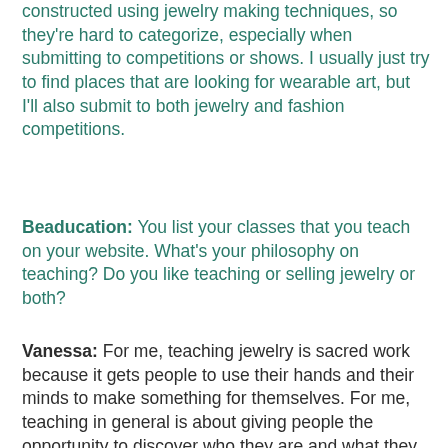constructed using jewelry making techniques, so they're hard to categorize, especially when submitting to competitions or shows.  I usually just try to find places that are looking for wearable art, but I'll also submit to both jewelry and fashion competitions.
Beaducation: You list your classes that you teach on your website. What's your philosophy on teaching? Do you like teaching or selling jewelry or both?
Vanessa: For me, teaching jewelry is sacred work because it gets people to use their hands and their minds to make something for themselves.  For me, teaching in general is about giving people the opportunity to discover who they are and what they love.  The fact that I get paid to spend time with lovely people and teach them how to make jewelry—I still can't believe that's part of my life.
Selling jewelry can also be fun when people come up to your booth and get really excited about your designs.  I love it when people tell me that they really like my work; it's nice when people get what I'm trying to do.  There are also few things more satisfying than making a piece for someone, and